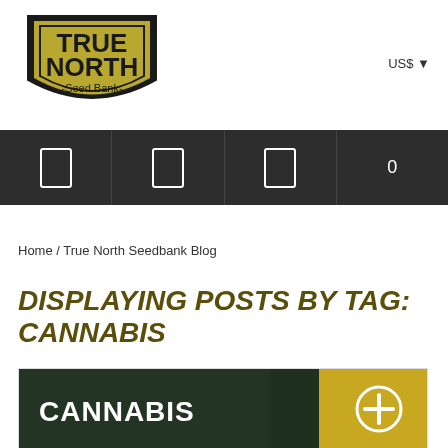[Figure (logo): True North Seed Bank shield-shaped logo with olive/dark gold background and bold black text]
US$ ▾
[Figure (infographic): Dark navigation bar with four icon cells: three rectangular icon symbols and a '0' counter]
Home / True North Seedbank Blog
DISPLAYING POSTS BY TAG: CANNABIS
[Figure (photo): Cannabis blog post thumbnail showing the word CANNABIS in white bold text overlay on a dark background with a person wearing a beanie and a yellow circle with a plus sign]